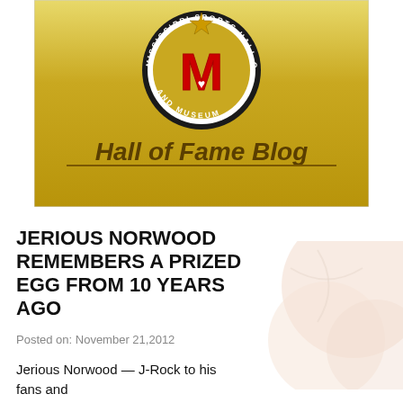[Figure (logo): Mississippi Sports Hall of Fame and Museum logo banner with gold gradient background, circular black logo with red M, and 'Hall of Fame Blog' text]
JERIOUS NORWOOD REMEMBERS A PRIZED EGG FROM 10 YEARS AGO
Posted on: November 21,2012
Jerious Norwood — J-Rock to his fans and